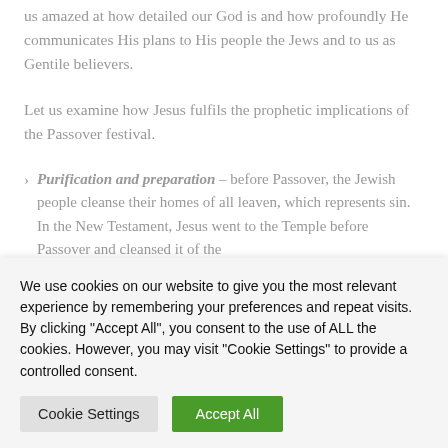us amazed at how detailed our God is and how profoundly He communicates His plans to His people the Jews and to us as Gentile believers.
Let us examine how Jesus fulfils the prophetic implications of the Passover festival.
Purification and preparation – before Passover, the Jewish people cleanse their homes of all leaven, which represents sin. In the New Testament, Jesus went to the Temple before Passover and cleansed it of the [continues]
We use cookies on our website to give you the most relevant experience by remembering your preferences and repeat visits. By clicking "Accept All", you consent to the use of ALL the cookies. However, you may visit "Cookie Settings" to provide a controlled consent.